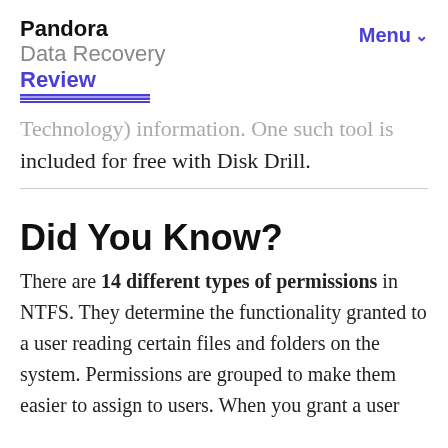Pandora Data Recovery Review — Menu
Technology) information. One such tool is included for free with Disk Drill.
Did You Know?
There are 14 different types of permissions in NTFS. They determine the functionality granted to a user reading certain files and folders on the system. Permissions are grouped to make them easier to assign to users. When you grant a user